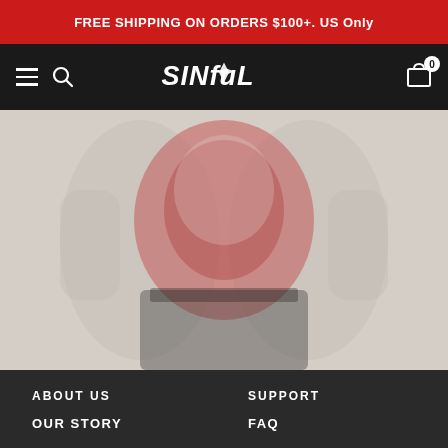FREE SHIPPING ON ORDERS $100+. US Only
[Figure (logo): Sinful brand logo in stylized white text on dark navigation bar, with hamburger menu icon, search icon, and shopping cart with badge showing 0]
[Figure (photo): Faded/muted photo of a person wearing a red graphic t-shirt and dark pants, cropped to show torso area]
ABOUT US
SUPPORT
OUR STORY
FAQ